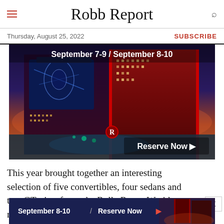Robb Report
Thursday, August 25, 2022 | SUBSCRIBE
[Figure (photo): Advertisement banner showing a luxury hotel/casino at night with illuminated towers. Text overlay reads: September 7-9 / September 8-10 / Reserve Now]
This year brought together an interesting selection of five convertibles, four sedans and two GTs, insofar as the Rolls-Royce Wraith might be considered such. Notably absent were
[Figure (photo): Bottom advertisement banner: dark blue background with hotel image. Text reads: September 8-10 / Reserve Now with arrow]